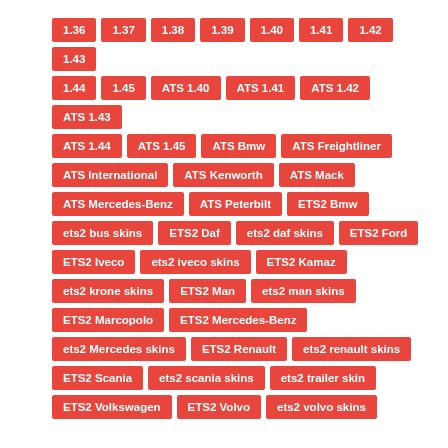1.36
1.37
1.38
1.39
1.40
1.41
1.42
1.43
1.44
1.45
ATS 1.40
ATS 1.41
ATS 1.42
ATS 1.43
ATS 1.44
ATS 1.45
ATS Bmw
ATS Freightliner
ATS International
ATS Kenworth
ATS Mack
ATS Mercedes-Benz
ATS Peterbilt
ETS2 Bmw
ets2 bus skins
ETS2 Daf
ets2 daf skins
ETS2 Ford
ETS2 Iveco
ets2 iveco skins
ETS2 Kamaz
ets2 krone skins
ETS2 Man
ets2 man skins
ETS2 Marcopolo
ETS2 Mercedes-Benz
ets2 Mercedes skins
ETS2 Renault
ets2 renault skins
ETS2 Scania
ets2 scania skins
ets2 trailer skin
ETS2 Volkswagen
ETS2 Volvo
ets2 volvo skins